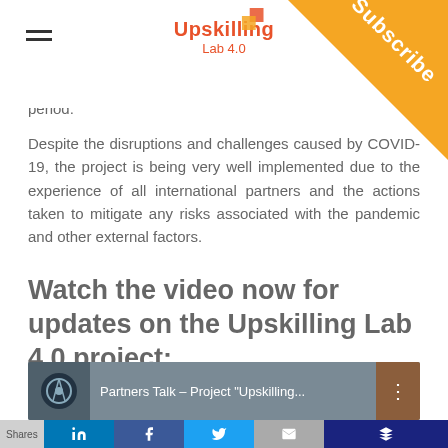Upskilling Lab 4.0
period.
Despite the disruptions and challenges caused by COVID-19, the project is being very well implemented due to the experience of all international partners and the actions taken to mitigate any risks associated with the pandemic and other external factors.
Watch the video now for updates on the Upskilling Lab 4.0 project:
[Figure (screenshot): Video thumbnail showing 'Partners Talk – Project "Upskilling...' with a logo on left and menu icon on right]
Shares | LinkedIn | Facebook | Twitter | Email | Other